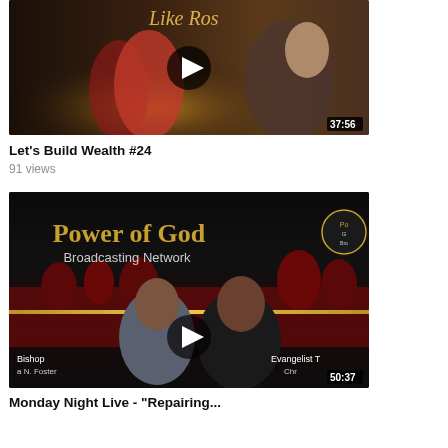[Figure (screenshot): Video thumbnail for 'Let's Build Wealth #24' showing dancers in red costumes on a stage with golden lighting, and a woman on the right side, with a play button overlay and duration 37:56]
Let's Build Wealth #24
91 views
[Figure (screenshot): Video thumbnail for 'Monday Night Live - Repairing...' showing a man in a gray suit and a woman in a black dress standing together, with 'Power of God Broadcasting Network' banner at top, play button overlay, and duration 50:37]
Monday Night Live - "Repairing...